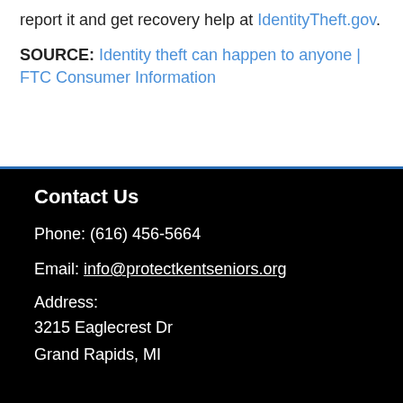report it and get recovery help at IdentityTheft.gov.
SOURCE: Identity theft can happen to anyone | FTC Consumer Information
Contact Us
Phone: (616) 456-5664
Email: info@protectkentseniors.org
Address:
3215 Eaglecrest Dr
Grand Rapids, MI